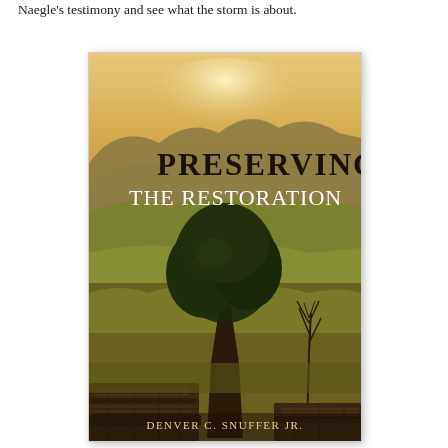Naegle's testimony and see what the storm is about.
[Figure (illustration): Book cover of 'Preserving the Restoration' by Denver C. Snuffer Jr. The cover shows a landscape with rolling hills, golden light, a large tree in the center, and stone ruins in the foreground. The title 'Preserving the Restoration' is overlaid in serif text, and the author name 'Denver C. Snuffer Jr.' appears at the bottom.]